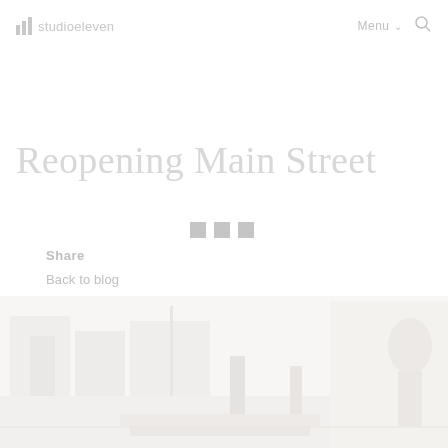studio eleven — Menu — [search]
Reopening Main Street
[Figure (other): Three small gray square social share icons]
Share
Back to blog
[Figure (photo): A very faded/washed out streetscape photograph, likely a main street or town center scene, appearing nearly white]